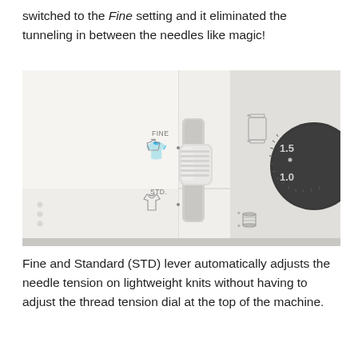switched to the Fine setting and it eliminated the tunneling in between the needles like magic!
[Figure (photo): Close-up photo of a sewing machine panel showing a lever with FINE and STD. (Standard) settings, each with fabric type icons, and a numbered thread tension dial showing 1.0 and 1.5.]
Fine and Standard (STD) lever automatically adjusts the needle tension on lightweight knits without having to adjust the thread tension dial at the top of the machine.